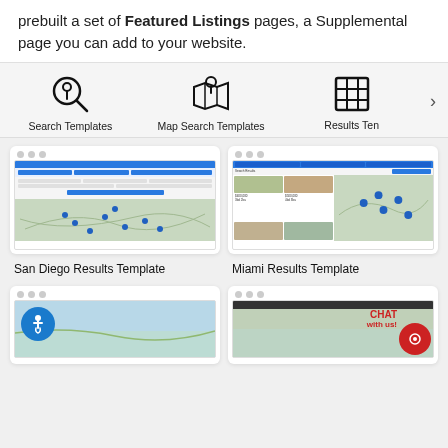prebuilt a set of Featured Listings pages, a Supplemental page you can add to your website.
[Figure (infographic): Icon row with Search Templates (magnifying glass with pin), Map Search Templates (map with pin), Results Ten (grid icon), and right arrow navigation button]
[Figure (screenshot): San Diego Results Template - mini browser screenshot showing a property search results page with blue navigation bars, a form, and a map with property pins]
San Diego Results Template
[Figure (screenshot): Miami Results Template - mini browser screenshot showing a property search results page with blue header bars, property photos grid, and a map]
Miami Results Template
[Figure (screenshot): Bottom left card - mini browser with accessibility icon (blue circle with wheelchair user) and a map view]
[Figure (screenshot): Bottom right card - mini browser showing CHAT with us! overlay in red text and a red chat button, with a property map]